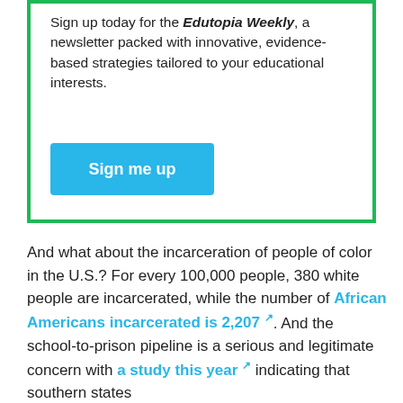Sign up today for the Edutopia Weekly, a newsletter packed with innovative, evidence-based strategies tailored to your educational interests.
[Figure (other): Blue 'Sign me up' button for newsletter signup]
And what about the incarceration of people of color in the U.S.? For every 100,000 people, 380 white people are incarcerated, while the number of African Americans incarcerated is 2,207. And the school-to-prison pipeline is a serious and legitimate concern with a study this year indicating that southern states